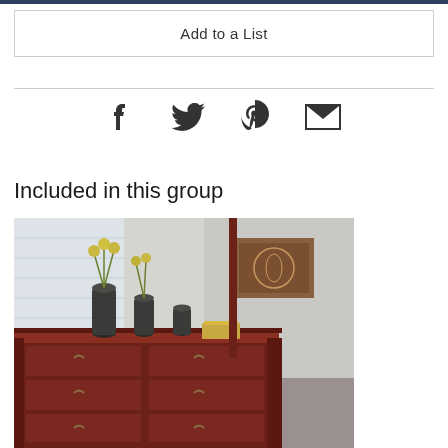Add to a List
[Figure (infographic): Social sharing icons: Facebook, Twitter, Pinterest, Email]
Included in this group
[Figure (photo): Dark cherry wood dresser with six drawers and decorative hardware, topped with vases and flowers, with mirror visible in background]